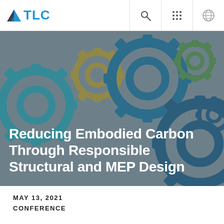[Figure (logo): TLC logo with blue triangle/mountain icon and blue TLC text]
[Figure (illustration): Hero image with colorful interlocking gears (teal, dark blue, gold/yellow, green) on a gray background, website navigation header overlay]
Reducing Embodied Carbon Through Responsible Structural and MEP Design
MAY 13, 2021
CONFERENCE